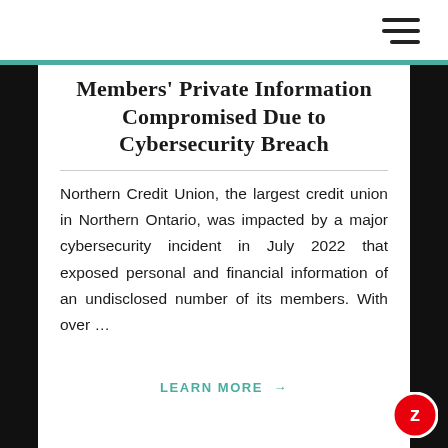Members' Private Information Compromised Due to Cybersecurity Breach
Northern Credit Union, the largest credit union in Northern Ontario, was impacted by a major cybersecurity incident in July 2022 that exposed personal and financial information of an undisclosed number of its members. With over …
LEARN MORE →